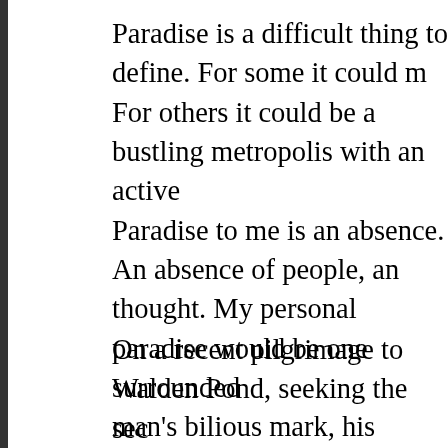Paradise is a difficult thing to define. For some it could mean... For others it could be a bustling metropolis with an active... Paradise to me is an absence. An absence of people, an... thought. My personal paradise would be one surrounded... man's bilious mark, his incessant barking of horns and si... doesn't mean I don't enjoy my modern amenities brough... an escape to nature refreshes the mind like nothing else.
On a recent pilgrimage to Walden Pond, seeking the sec... accosted by overwhelming contradictions, both in my sur... the reader knows, Walden was the site Henry David Tho... building his cabin and living in nature. After reading Wald... forward to visiting the actual site. OK, I was ecstatically e... just got a pony, jumping up and down in utter delight. The... and the thought of walking the same ground and seeing... thoreau-ly. Bad joke? Moving on.
My arrival at the site was promising. There were no hous... seemed thick with conifers and traffic was light on the co... marked “Walden” and felt a pang of worry almost immed... booth and orange construction netting and temporary ch... snuffing out the proud forest. Though this was worrisome... “It’s just the parking lot,” I thought, “It sucks that I have to... whatever, I’m here.” So proudly displaying my “taxation is... reconstruction of Thoreau’s cabin, and posed for a dick...